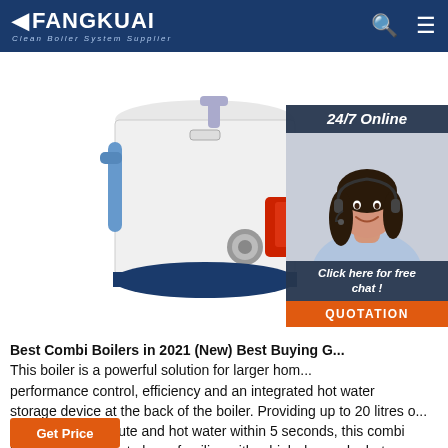FANGKUAI — Clean Boiler System Supplier
[Figure (photo): Photo of a vertical cylindrical combi boiler unit, white and red with blue base, with pipes and fittings visible. Shown from the side/front.]
[Figure (photo): Customer service representative woman with headset smiling, alongside '24/7 Online' text and 'Click here for free chat!' call-to-action with QUOTATION button]
Best Combi Boilers in 2021 (New) Best Buying G... This boiler is a powerful solution for larger hom... performance control, efficiency and an integrated hot water storage device at the back of the boiler. Providing up to 20 litres of hot water per minute and hot water within 5 seconds, this combi boiler is appealing to large families with a high demand for hot water and comes with ...
Get Price